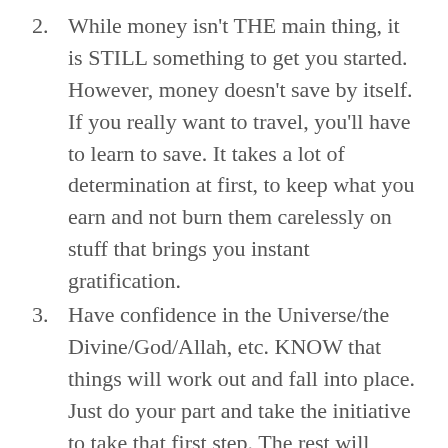2. While money isn't THE main thing, it is STILL something to get you started. However, money doesn't save by itself. If you really want to travel, you'll have to learn to save. It takes a lot of determination at first, to keep what you earn and not burn them carelessly on stuff that brings you instant gratification.
3. Have confidence in the Universe/the Divine/God/Allah, etc. KNOW that things will work out and fall into place. Just do your part and take the initiative to take that first step. The rest will follow.
4. Don't sightsee but wander. Sure, we all have a bucket list of destinations that we should see and experience before we die, but sometimes you just